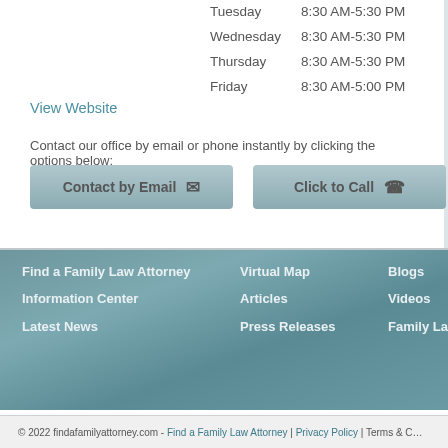| Day | Hours |
| --- | --- |
| Tuesday | 8:30 AM-5:30 PM |
| Wednesday | 8:30 AM-5:30 PM |
| Thursday | 8:30 AM-5:30 PM |
| Friday | 8:30 AM-5:00 PM |
View Website
Contact our office by email or phone instantly by clicking the options below:
Contact by Email
Click to Call
Find a Family Law Attorney
Information Center
Latest News
Virtual Map
Articles
Press Releases
Blogs
Videos
Family Law
© 2022 findafamilyattorney.com - Find a Family Law Attorney | Privacy Policy | Terms & C…